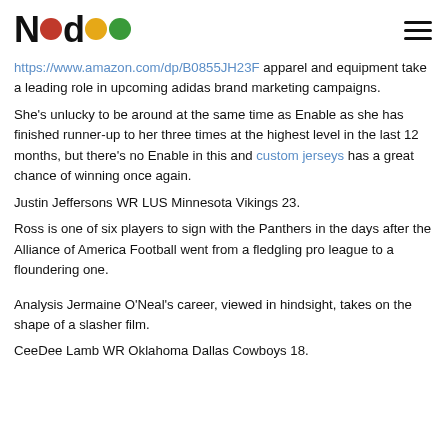Nada (logo with red, yellow, green circles)
https://www.amazon.com/dp/B0855JH23F apparel and equipment take a leading role in upcoming adidas brand marketing campaigns.
She's unlucky to be around at the same time as Enable as she has finished runner-up to her three times at the highest level in the last 12 months, but there's no Enable in this and custom jerseys has a great chance of winning once again.
Justin Jeffersons WR LUS Minnesota Vikings 23.
Ross is one of six players to sign with the Panthers in the days after the Alliance of America Football went from a fledgling pro league to a floundering one.
Analysis Jermaine O'Neal's career, viewed in hindsight, takes on the shape of a slasher film.
CeeDee Lamb WR Oklahoma Dallas Cowboys 18.